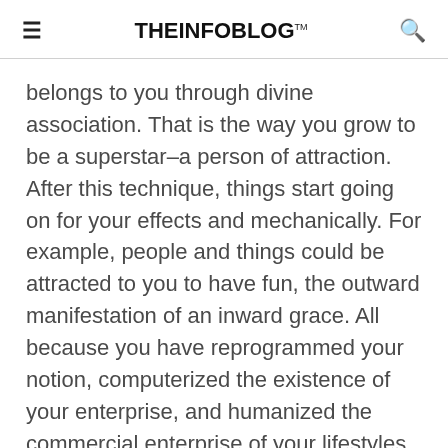THEINFOBLOG™
belongs to you through divine association. That is the way you grow to be a superstar–a person of attraction. After this technique, things start going on for your effects and mechanically. For example, people and things could be attracted to you to have fun, the outward manifestation of an inward grace. All because you have reprogrammed your notion, computerized the existence of your enterprise, and humanized the commercial enterprise of your lifestyles—all due to the spotting and obeying the law of appeal.